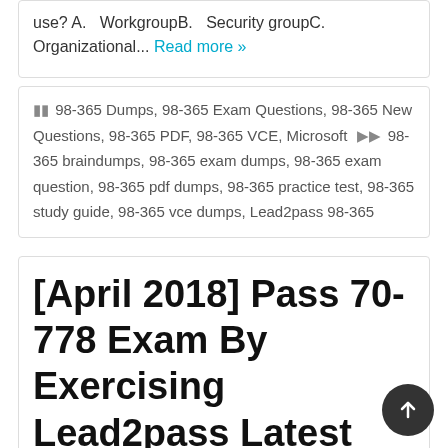use? A.   WorkgroupB.   Security groupC.   Organizational... Read more »
98-365 Dumps, 98-365 Exam Questions, 98-365 New Questions, 98-365 PDF, 98-365 VCE, Microsoft   98-365 braindumps, 98-365 exam dumps, 98-365 exam question, 98-365 pdf dumps, 98-365 practice test, 98-365 study guide, 98-365 vce dumps, Lead2pass 98-365
[April 2018] Pass 70-778 Exam By Exercising Lead2pass Latest 70-778 VCE And PDF Dumps 60q
Pass 70-778 Exam By Training Lead2pass New VCE And PDF Dumps: